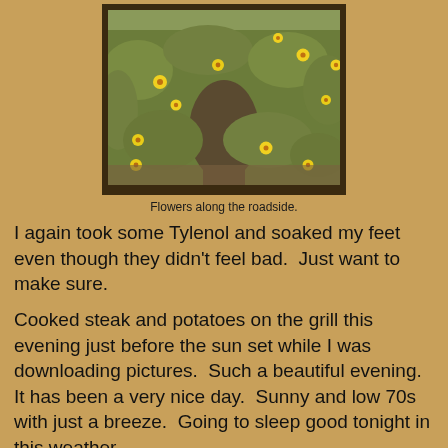[Figure (photo): Photograph of yellow wildflowers growing along a roadside, dense green bushy plants with multiple bright yellow daisy-like blooms.]
Flowers along the roadside.
I again took some Tylenol and soaked my feet even though they didn't feel bad.  Just want to make sure.
Cooked steak and potatoes on the grill this evening just before the sun set while I was downloading pictures.  Such a beautiful evening.  It has been a very nice day.  Sunny and low 70s with just a breeze.  Going to sleep good tonight in this weather.